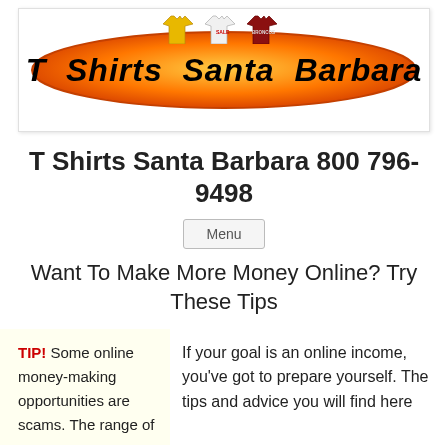[Figure (logo): T Shirts Santa Barbara logo: orange surfboard shape with t-shirts on top, bold italic text 'T Shirts Santa Barbara' on the surfboard]
T Shirts Santa Barbara 800 796-9498
Menu
Want To Make More Money Online? Try These Tips
TIP! Some online money-making opportunities are scams. The range of
If your goal is an online income, you've got to prepare yourself. The tips and advice you will find here